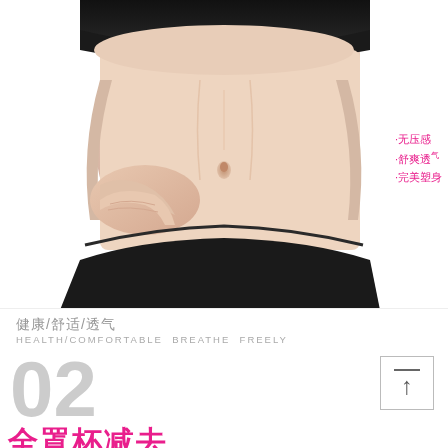[Figure (photo): Close-up photo of a woman's midriff wearing black sports bra and black underwear, one hand resting on her side, with a white background. Product advertisement image for shapewear/underwear.]
·无压感
·舒爽透°
·完美塑身
健康/舒适/透气
HEALTH/COMFORTABLE BREATHE FREELY
02
全罩杯减去